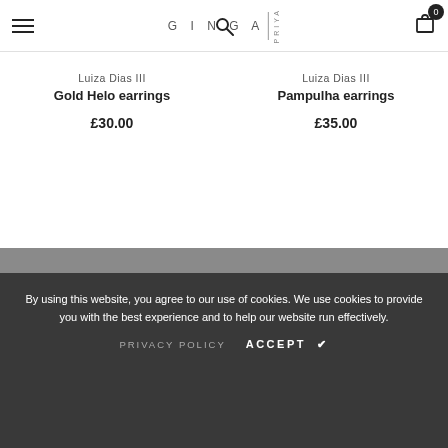GINGA | PRIYA — navigation header with hamburger menu, search, logo, and cart (0)
Luiza Dias III
Gold Helo earrings
£30.00
Luiza Dias III
Pampulha earrings
£35.00
By using this website, you agree to our use of cookies. We use cookies to provide you with the best experience and to help our website run effectively.
PRIVACY POLICY   ACCEPT ✔